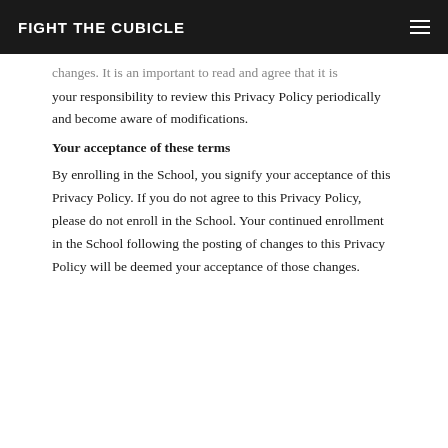FIGHT THE CUBICLE
changes. It is an important to read and agree that it is your responsibility to review this Privacy Policy periodically and become aware of modifications.
Your acceptance of these terms
By enrolling in the School, you signify your acceptance of this Privacy Policy. If you do not agree to this Privacy Policy, please do not enroll in the School. Your continued enrollment in the School following the posting of changes to this Privacy Policy will be deemed your acceptance of those changes.